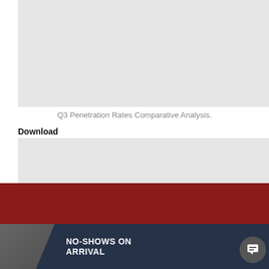[Figure (other): Gray placeholder image block at top of page]
Q3 Penetration Rates Comparative Analysis.
Download
[Figure (other): Second gray placeholder image block]
[Figure (logo): OZION logo with blue underline on white background panel, with dark red triangle background on right side]
[Figure (photo): Close-up photo of elderly hands gripping a wheelchair wheel, with dark navy banner overlay reading NO-SHOWS ON ARRIVAL and a chat bubble icon]